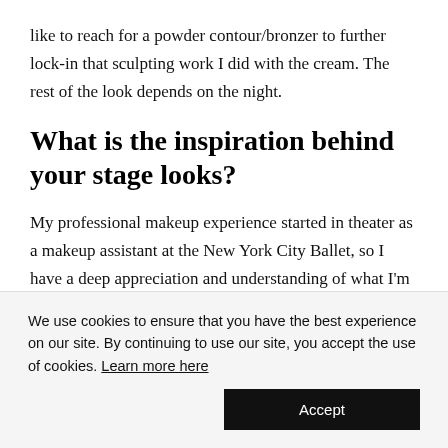like to reach for a powder contour/bronzer to further lock-in that sculpting work I did with the cream. The rest of the look depends on the night.
What is the inspiration behind your stage looks?
My professional makeup experience started in theater as a makeup assistant at the New York City Ballet, so I have a deep appreciation and understanding of what I'm trying to
We use cookies to ensure that you have the best experience on our site. By continuing to use our site, you accept the use of cookies. Learn more here